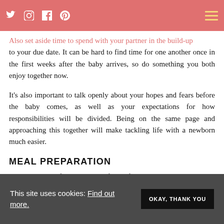Social icons (Twitter, Instagram, Facebook, Pinterest) and hamburger menu
Also set aside time to spend with your partner in the build-up to your due date. It can be hard to find time for one another once in the first weeks after the baby arrives, so do something you both enjoy together now.
It's also important to talk openly about your hopes and fears before the baby comes, as well as your expectations for how responsibilities will be divided. Being on the same page and approaching this together will make tackling life with a newborn much easier.
MEAL PREPARATION
By cooking and freezing some of your favorite meals now, you'll be able to eat well in those first few weeks without the need to do lots of cooking. Plus, it's a great way to use
This site uses cookies: Find out more.
OKAY, THANK YOU